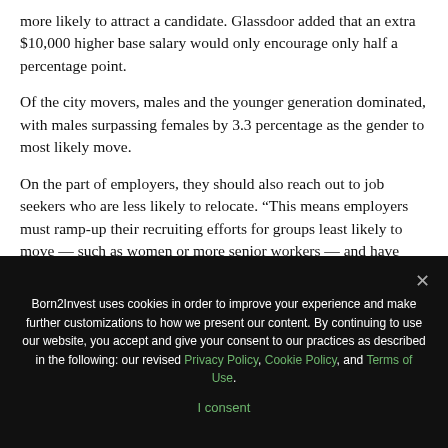more likely to attract a candidate. Glassdoor added that an extra $10,000 higher base salary would only encourage only half a percentage point.
Of the city movers, males and the younger generation dominated, with males surpassing females by 3.3 percentage as the gender to most likely move.
On the part of employers, they should also reach out to job seekers who are less likely to relocate. “This means employers must ramp-up their recruiting efforts for groups least likely to move — such as women or more senior workers — and have excellent culture, strong pay or benefits
Born2Invest uses cookies in order to improve your experience and make further customizations to how we present our content. By continuing to use our website, you accept and give your consent to our practices as described in the following: our revised Privacy Policy, Cookie Policy, and Terms of Use.

I consent